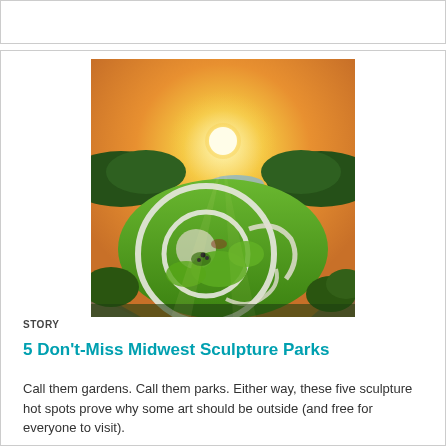[Figure (photo): Aerial drone photo of a sculpture park/garden with circular winding paths, lush green grass, a building with reflective roof, and a warm sunset sky with golden light over a forest canopy.]
STORY
5 Don't-Miss Midwest Sculpture Parks
Call them gardens. Call them parks. Either way, these five sculpture hot spots prove why some art should be outside (and free for everyone to visit).